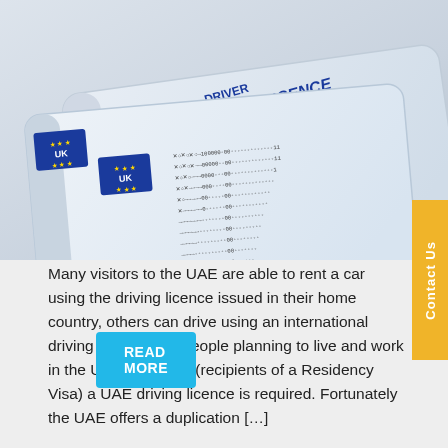[Figure (photo): A UK Driver Card and Driving Licence shown at an angle on a white background, displaying EU flag with UK stars and encoded data on the card surface.]
Many visitors to the UAE are able to rent a car using the driving licence issued in their home country, others can drive using an international driving licence. For people planning to live and work in the UAE long term (recipients of a Residency Visa) a UAE driving licence is required. Fortunately the UAE offers a duplication […]
READ MORE